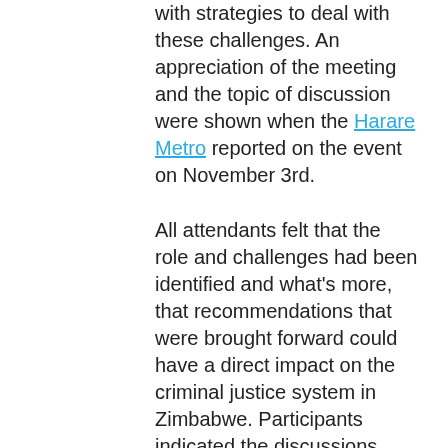with strategies to deal with these challenges. An appreciation of the meeting and the topic of discussion were shown when the Harare Metro reported on the event on November 3rd.
All attendants felt that the role and challenges had been identified and what's more, that recommendations that were brought forward could have a direct impact on the criminal justice system in Zimbabwe. Participants indicated the discussions were 'informative, vital and an eye-opener.'
The participants agreed that the media have power and an important role in influencing public and government policy.  That is why accurate reporting of cases is seen as an important tool and a method of deterrence to keep